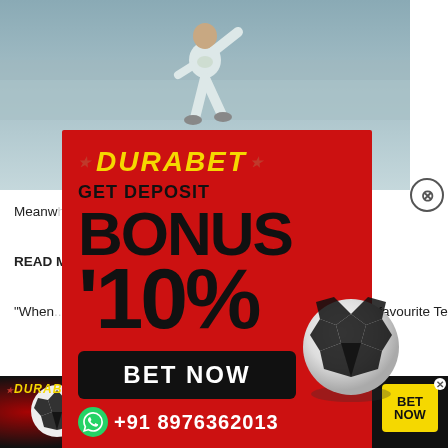[Figure (photo): Cricket player in white/light green uniform captured mid-action against a blurred stadium background]
[Figure (advertisement): Durabet popup advertisement with red background. Shows DURABET logo in yellow, GET DEPOSIT text, BONUS 10% in large black text, BET NOW button, soccer ball graphic, WhatsApp number +91 8976362013]
Meanwhile ... ke Avesh ... Choud ... l.
READ M... oma don't s...
"When... past Virat Kohli," Lee had said when asked who his favourite Test
[Figure (advertisement): Durabet bottom banner ad with black background, soccer ball, DURABET logo, GET DEPOSIT BONUS 10% text in red italic, BET NOW button in yellow, +91 8976362013 phone number, www.durabet.com URL]